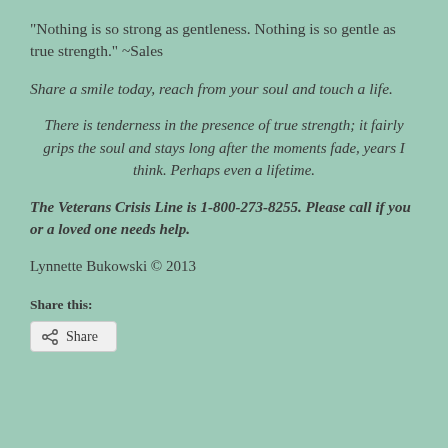“Nothing is so strong as gentleness. Nothing is so gentle as true strength.” ~Sales
Share a smile today, reach from your soul and touch a life.
There is tenderness in the presence of true strength; it fairly grips the soul and stays long after the moments fade, years I think. Perhaps even a lifetime.
The Veterans Crisis Line is 1-800-273-8255. Please call if you or a loved one needs help.
Lynnette Bukowski © 2013
Share this:
Share